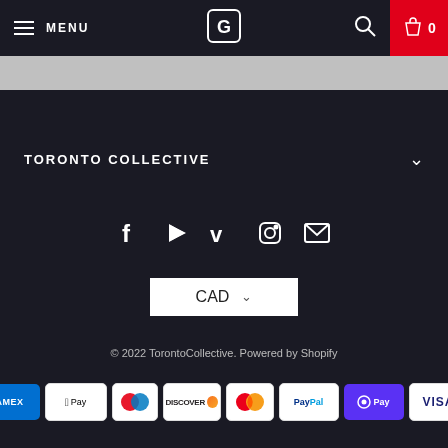MENU | [Logo] | [Search] | 0
TORONTO COLLECTIVE
[Figure (infographic): Social media icons: Facebook, YouTube, Vimeo, Instagram, Email]
CAD
© 2022 TorontoCollective. Powered by Shopify
[Figure (infographic): Payment method logos: AMEX, Apple Pay, Diners Club, Discover, Mastercard, PayPal, Shop Pay, Visa]